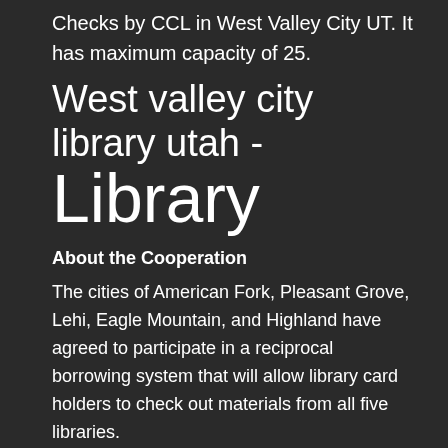Checks by CCL in West Valley City UT. It has maximum capacity of 25.
West valley city library utah - Library
About the Cooperation
The cities of American Fork, Pleasant Grove, Lehi, Eagle Mountain, and Highland have agreed to participate in a reciprocal borrowing system that will allow library card holders to check out materials from all five libraries.
This is not a county library system. Library borrowers are encouraged to search for needed materials at their home library before searching the other libraries' online catalogs.